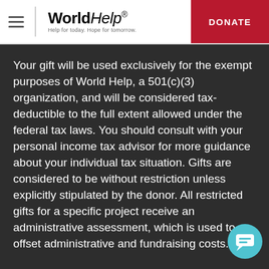[Figure (logo): World Help logo with hamburger menu icon and tagline 'Help for today. Hope for tomorrow.']
DONATE
Your gift will be used exclusively for the exempt purposes of World Help, a 501(c)(3) organization, and will be considered tax-deductible to the full extent allowed under the federal tax laws. You should consult with your personal income tax advisor for more guidance about your individual tax situation. Gifts are considered to be without restriction unless explicitly stipulated by the donor. All restricted gifts for a specific project receive an administrative assessment, which is used to offset administrative and fundraising costs.